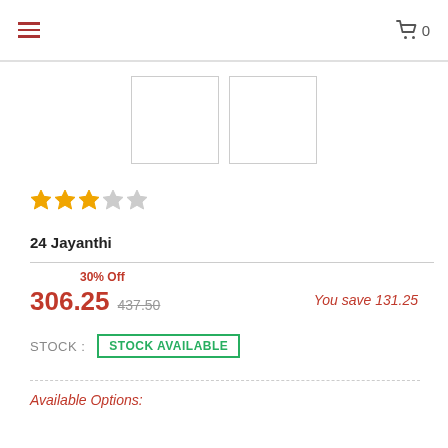Navigation bar with hamburger menu and cart icon (0 items)
[Figure (photo): Two blank product image thumbnails side by side]
★★★☆☆ (3 out of 5 stars)
24 Jayanthi
30% Off  306.25  437.50  You save 131.25
STOCK: STOCK AVAILABLE
Available Options: